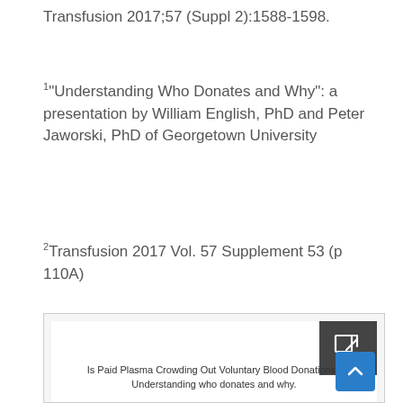Transfusion 2017;57 (Suppl 2):1588-1598.
1"Understanding Who Donates and Why": a presentation by William English, PhD and Peter Jaworski, PhD of Georgetown University
2Transfusion 2017 Vol. 57 Supplement 53 (p 110A)
[Figure (screenshot): Embedded document preview showing 'Is Paid Plasma Crowding Out Voluntary Blood Donations? Understanding who donates and why.' with an external link icon and a scroll-to-top button.]